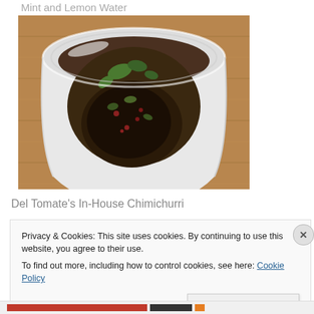Mint and Lemon Water
[Figure (photo): Top-down view of a white ceramic cup containing chimichurri sauce with visible herbs and red pepper pieces, placed on a wooden surface]
Del Tomate's In-House Chimichurri
Privacy & Cookies: This site uses cookies. By continuing to use this website, you agree to their use.
To find out more, including how to control cookies, see here: Cookie Policy
Close and accept